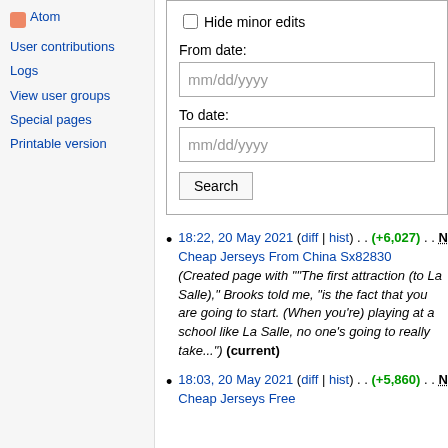Atom
User contributions
Logs
View user groups
Special pages
Printable version
Hide minor edits
From date:
mm/dd/yyyy
To date:
mm/dd/yyyy
Search
18:22, 20 May 2021 (diff | hist) . . (+6,027) . . N Cheap Jerseys From China Sx82830 (Created page with ""The first attraction (to La Salle)," Brooks told me, "is the fact that you are going to start. (When you're) playing at a school like La Salle, no one's going to really take...") (current)
18:03, 20 May 2021 (diff | hist) . . (+5,860) . . N Cheap Jerseys Free